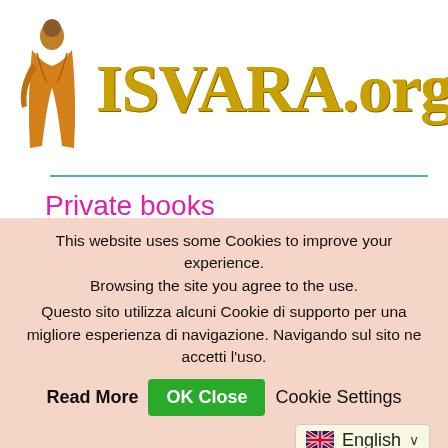[Figure (logo): ISVARA.org website logo with monk figure and golden text]
Private books
Open books
Kadacha books
This website uses some Cookies to improve your experience. Browsing the site you agree to the use. Questo sito utilizza alcuni Cookie di supporto per una migliore esperienza di navigazione. Navigando sul sito ne accetti l'uso.
Read More  OK Close  Cookie Settings
English